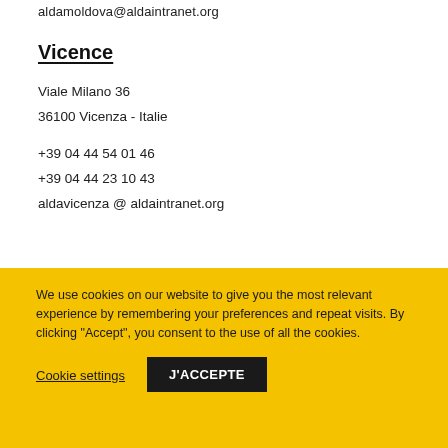aldamoldova@aldaintranet.org
Vicence
Viale Milano 36
36100 Vicenza - Italie
+39 04 44 54 01 46
+39 04 44 23 10 43
aldavicenza @ aldaintranet.org
We use cookies on our website to give you the most relevant experience by remembering your preferences and repeat visits. By clicking “Accept”, you consent to the use of all the cookies.
Cookie settings
J'ACCEPTE